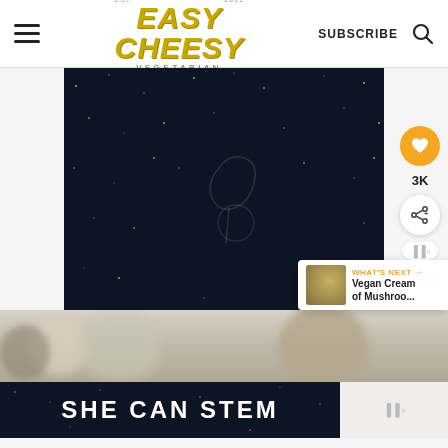Easy Cheesy Vegetarian — EST 2011 | SUBSCRIBE
[Figure (screenshot): Dark night-sky style video thumbnail with faint vegetable outline and white speckles, main video frame]
[Figure (photo): Blurred photo of mushrooms and cream in a bowl, bottom strip]
WHAT'S NEXT → Vegan Cream of Mushroo...
SHE CAN STEM